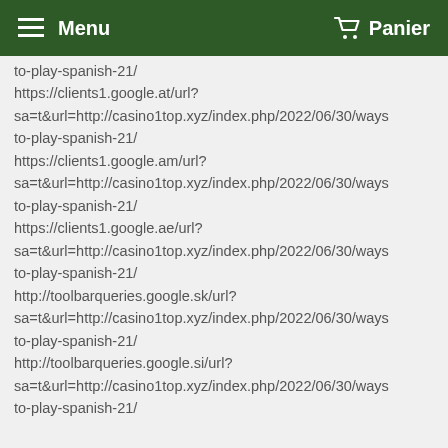Menu   Panier
to-play-spanish-21/
https://clients1.google.at/url?
sa=t&url=http://casino1top.xyz/index.php/2022/06/30/ways
to-play-spanish-21/
https://clients1.google.am/url?
sa=t&url=http://casino1top.xyz/index.php/2022/06/30/ways
to-play-spanish-21/
https://clients1.google.ae/url?
sa=t&url=http://casino1top.xyz/index.php/2022/06/30/ways
to-play-spanish-21/
http://toolbarqueries.google.sk/url?
sa=t&url=http://casino1top.xyz/index.php/2022/06/30/ways
to-play-spanish-21/
http://toolbarqueries.google.si/url?
sa=t&url=http://casino1top.xyz/index.php/2022/06/30/ways
to-play-spanish-21/